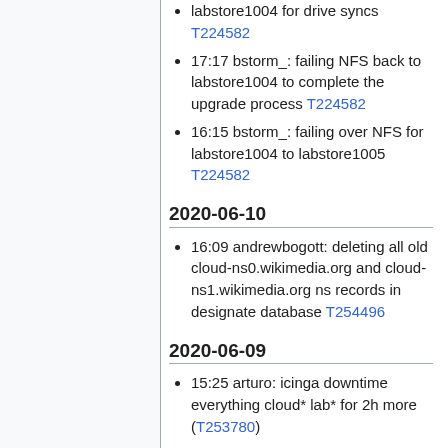labstore1004 for drive syncs T224582
17:17 bstorm_: failing NFS back to labstore1004 to complete the upgrade process T224582
16:15 bstorm_: failing over NFS for labstore1004 to labstore1005 T224582
2020-06-10
16:09 andrewbogott: deleting all old cloud-ns0.wikimedia.org and cloud-ns1.wikimedia.org ns records in designate database T254496
2020-06-09
15:25 arturo: icinga downtime everything cloud* lab* for 2h more (T253780)
14:09 andrewbogott: stopping